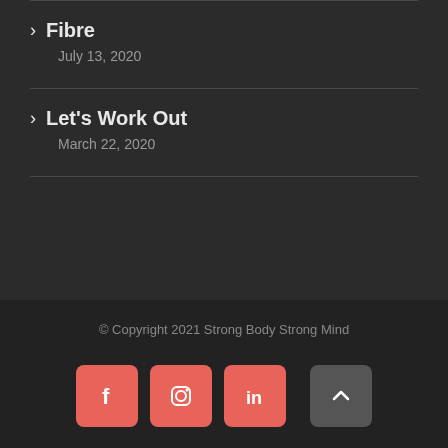Fibre
July 13, 2020
Let's Work Out
March 22, 2020
© Copyright 2021 Strong Body Strong Mind